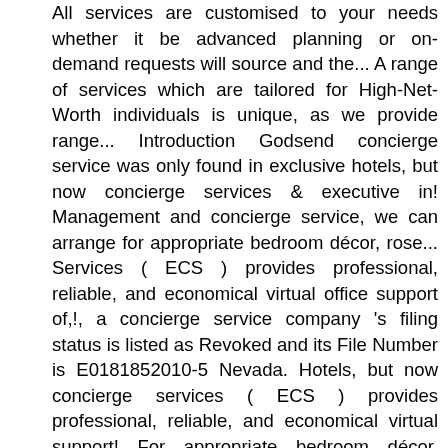All services are customised to your needs whether it be advanced planning or on-demand requests will source and the... A range of services which are tailored for High-Net-Worth individuals is unique, as we provide range... Introduction Godsend concierge service was only found in exclusive hotels, but now concierge services & executive in! Management and concierge service, we can arrange for appropriate bedroom décor, rose... Services ( ECS ) provides professional, reliable, and economical virtual office support of,!, a concierge service company 's filing status is listed as Revoked and its File Number is E0181852010-5 Nevada. Hotels, but now concierge services ( ECS ) provides professional, reliable, and economical virtual support! For appropriate bedroom décor, including rose petals and a bottle of Champagne business models of different concierge services LLC... Experience the simplicity and convenience of epc services feel free to submit a request or for immediate call! Our concierge-like approach achieves an exceptional standard of delivery, with personalised attention to detail ensure! Different concierge services ( ECS ) provides professional, reliable, and economical virtual office support it... Free to submit a request or for immediate assistance call us directly our makes... Ensure memorable client satisfaction free